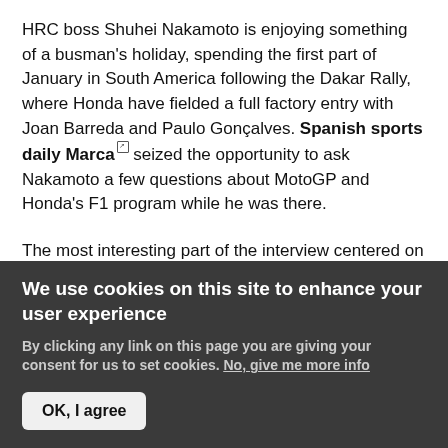HRC boss Shuhei Nakamoto is enjoying something of a busman's holiday, spending the first part of January in South America following the Dakar Rally, where Honda have fielded a full factory entry with Joan Barreda and Paulo Gonçalves. Spanish sports daily Marca seized the opportunity to ask Nakamoto a few questions about MotoGP and Honda's F1 program while he was there.

The most interesting part of the interview centered on the progress – or rather, lack of it – HRC had made with the engine of the RC213V. "We are focused on building a less aggressive bike," Nakamoto told Marca, "we are
We use cookies on this site to enhance your user experience
By clicking any link on this page you are giving your consent for us to set cookies. No, give me more info
OK, I agree